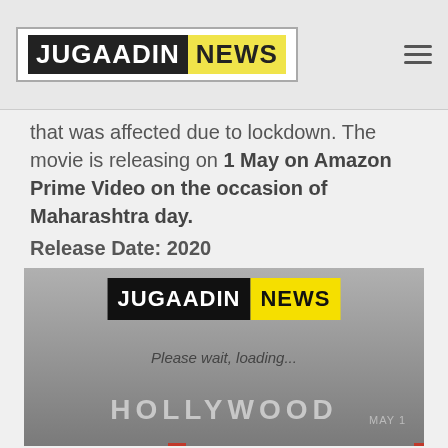JUGAADIN NEWS
that was affected due to lockdown. The movie is releasing on 1 May on Amazon Prime Video on the occasion of Maharashtra day.
Release Date: 2020
[Figure (screenshot): A movie promotional image showing Hollywood with cast faces in the background. Overlay shows Jugaadin News watermark logo and 'Please wait, loading...' text. Bottom shows 'HOLLYWOOD' text and 'MAY 1' label.]
IMAGE SOURCE: GOOGLE
6. Hollywood- Netflix
The most awaited show on Netflix is